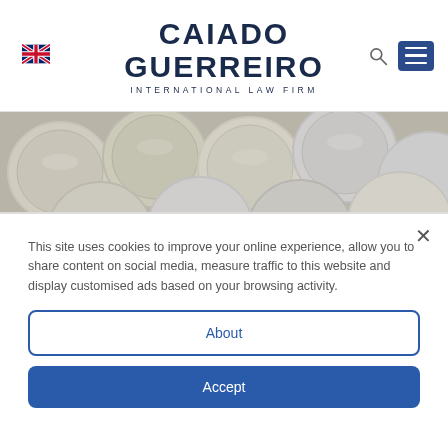[Figure (logo): Caiado Guerreiro International Law Firm logo with UK flag, search icon, and hamburger menu]
[Figure (photo): Close-up photo of scattered silver coins viewed from above]
This site uses cookies to improve your online experience, allow you to share content on social media, measure traffic to this website and display customised ads based on your browsing activity.
About
Accept